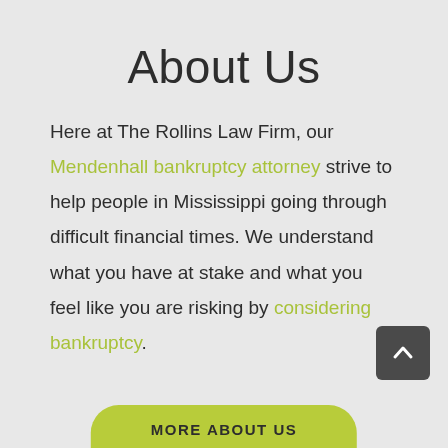About Us
Here at The Rollins Law Firm, our Mendenhall bankruptcy attorney strive to help people in Mississippi going through difficult financial times. We understand what you have at stake and what you feel like you are risking by considering bankruptcy.
MORE ABOUT US